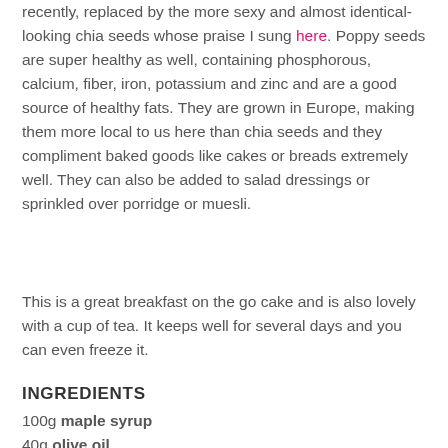recently, replaced by the more sexy and almost identical-looking chia seeds whose praise I sung here. Poppy seeds are super healthy as well, containing phosphorous, calcium, fiber, iron, potassium and zinc and are a good source of healthy fats. They are grown in Europe, making them more local to us here than chia seeds and they compliment baked goods like cakes or breads extremely well. They can also be added to salad dressings or sprinkled over porridge or muesli.
This is a great breakfast on the go cake and is also lovely with a cup of tea. It keeps well for several days and you can even freeze it.
INGREDIENTS
100g maple syrup
40g olive oil